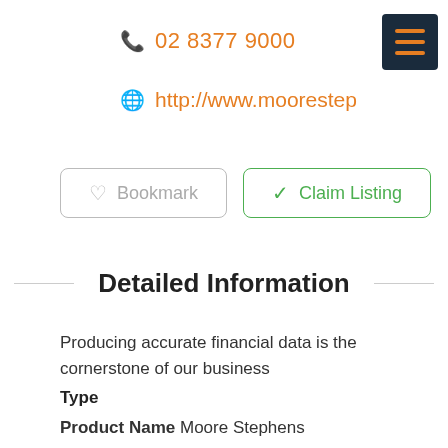02 8377 9000
http://www.moorestep
Bookmark
Claim Listing
Detailed Information
Producing accurate financial data is the cornerstone of our business
Type
Product Name Moore Stephens